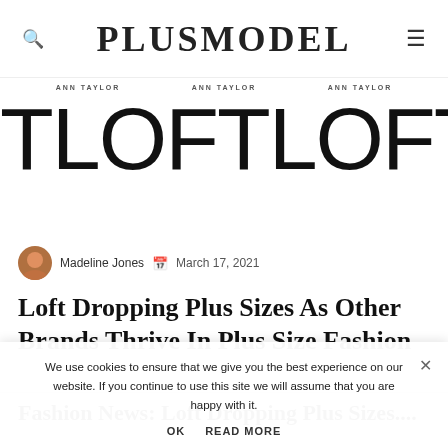PLUSMODEL
[Figure (logo): Ann Taylor LOFT repeating banner logo — three instances of 'ANN TAYLOR' above large 'LOFTLOFTLOFT' text]
Madeline Jones   March 17, 2021
Loft Dropping Plus Sizes As Other Brands Thrive In Plus Size Fashion
We use cookies to ensure that we give you the best experience on our website. If you continue to use this site we will assume that you are happy with it.
OK   READ MORE
Fashion News: Loft Dropping Plus Sizes....